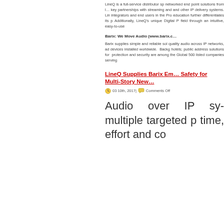LineQ is a full-service distributor sp... networked end point solutions from ... key partnerships with streaming and ... and other IP delivery systems. Lin... integrators and end users in the Pro... education further differentiates its p... Additionally, LineQ's unique Digital P... field through an intuitive, easy-to-use...
Barix: We Move Audio (www.barix.c...
Barix supplies simple and reliable sol... quality audio across IP networks, ad... devices installed worldwide. Backg... hotels; public address solutions for ... protection and security are among the... Global 500 listed companies serving ...
LineQ Supplies Barix Em... Safety for Multi-Story New...
03 10th, 2017| Comments Off
Audio over IP sy... multiple targeted p... time, effort and co...